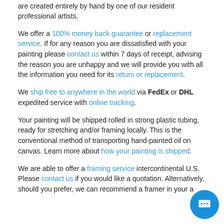are created entirely by hand by one of our resident professional artists.
We offer a 100% money back guarantee or replacement service. If for any reason you are dissatisfied with your painting please contact us within 7 days of receipt, advising the reason you are unhappy and we will provide you with all the information you need for its return or replacement.
We ship free to anywhere in the world via FedEx or DHL expedited service with online tracking.
Your painting will be shipped rolled in strong plastic tubing, ready for stretching and/or framing locally. This is the conventional method of transporting hand-painted oil on canvas. Learn more about how your painting is shipped.
We are able to offer a framing service intercontinental U.S. Please contact us if you would like a quotation. Alternatively, should you prefer, we can recommend a framer in your a...